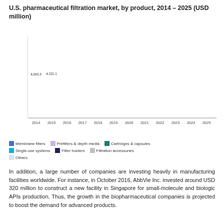U.S. pharmaceutical filtration market, by product, 2014 – 2025 (USD million)
[Figure (stacked-bar-chart): U.S. pharmaceutical filtration market, by product, 2014 – 2025 (USD million)]
In addition, a large number of companies are investing heavily in manufacturing facilities worldwide. For instance, in October 2016, AbbVie Inc. invested around USD 320 million to construct a new facility in Singapore for small-molecule and biologic APIs production. Thus, the growth in the biopharmaceutical companies is projected to boost the demand for advanced products.